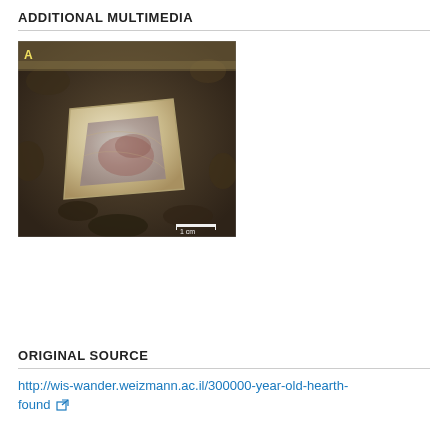ADDITIONAL MULTIMEDIA
[Figure (photo): Microscope photograph labeled 'A' showing a light-colored roughly square artifact (possibly a bone or stone fragment) embedded in dark sandy/earthy substrate, with a 1 cm scale bar at the bottom right]
ORIGINAL SOURCE
http://wis-wander.weizmann.ac.il/300000-year-old-hearth-found [external link icon]